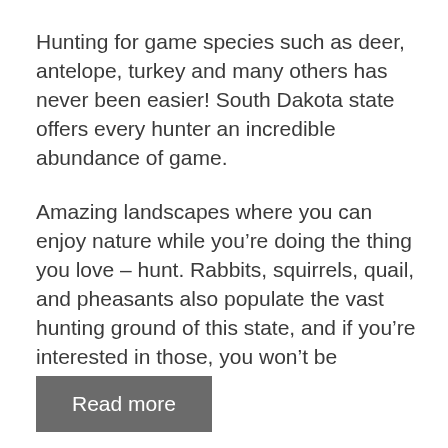Hunting for game species such as deer, antelope, turkey and many others has never been easier! South Dakota state offers every hunter an incredible abundance of game.
Amazing landscapes where you can enjoy nature while you’re doing the thing you love – hunt. Rabbits, squirrels, quail, and pheasants also populate the vast hunting ground of this state, and if you’re interested in those, you won’t be disappointed.
Read more